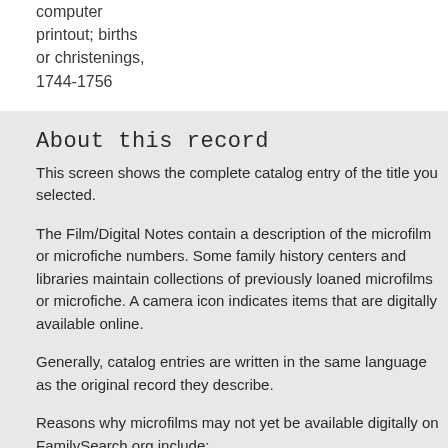computer printout; births or christenings, 1744-1756
About this record
This screen shows the complete catalog entry of the title you selected.
The Film/Digital Notes contain a description of the microfilm or microfiche numbers. Some family history centers and libraries maintain collections of previously loaned microfilms or microfiche. A camera icon indicates items that are digitally available online.
Generally, catalog entries are written in the same language as the original record they describe.
Reasons why microfilms may not yet be available digitally on FamilySearch.org include:
The microfilm may be scheduled for future scanning.
The microfilm may not yet be scanned.